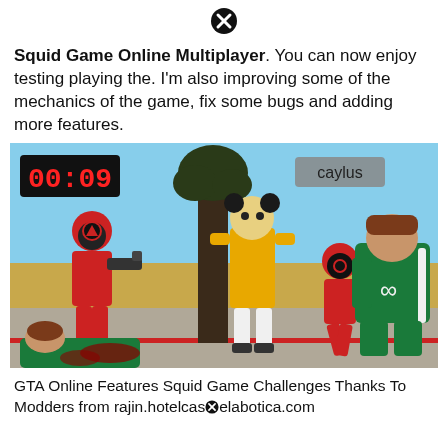[Figure (other): Close/X button icon at top center]
Squid Game Online Multiplayer. You can now enjoy testing playing the. I'm also improving some of the mechanics of the game, fix some bugs and adding more features.
[Figure (screenshot): GTA V mod screenshot showing Squid Game scene with the giant doll, players in red jumpsuits, a player in green tracksuit, timer showing 00:09, and 'caylus' watermark]
GTA Online Features Squid Game Challenges Thanks To Modders from rajin.hotelcas[x]elabotica.com